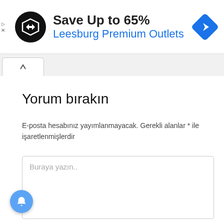[Figure (screenshot): Advertisement banner: Save Up to 65% Leesburg Premium Outlets with logo and navigation icon]
Yorum bırakın
E-posta hesabınız yayımlanmayacak. Gerekli alanlar * ile işaretlenmişlerdir
[Figure (screenshot): Text area input box with placeholder text 'Buraya yazın..']